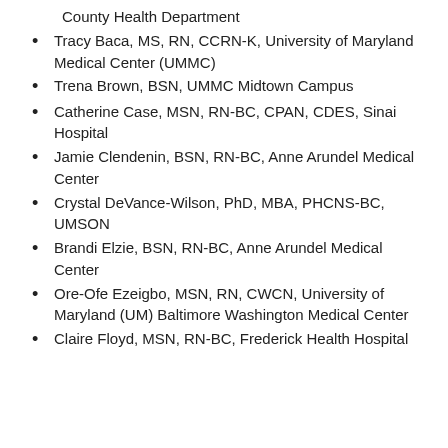County Health Department
Tracy Baca, MS, RN, CCRN-K, University of Maryland Medical Center (UMMC)
Trena Brown, BSN, UMMC Midtown Campus
Catherine Case, MSN, RN-BC, CPAN, CDES, Sinai Hospital
Jamie Clendenin, BSN, RN-BC, Anne Arundel Medical Center
Crystal DeVance-Wilson, PhD, MBA, PHCNS-BC, UMSON
Brandi Elzie, BSN, RN-BC, Anne Arundel Medical Center
Ore-Ofe Ezeigbo, MSN, RN, CWCN, University of Maryland (UM) Baltimore Washington Medical Center
Claire Floyd, MSN, RN-BC, Frederick Health Hospital